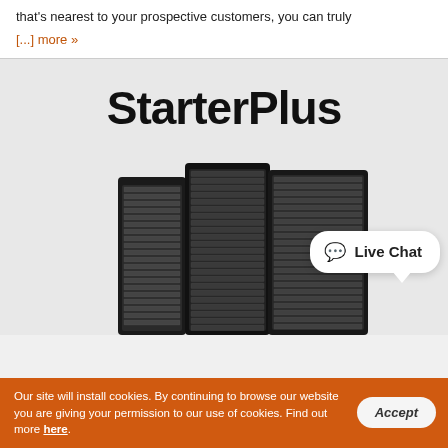that's nearest to your prospective customers, you can truly
[...] more »
StarterPlus
[Figure (photo): Three black server rack units arranged side by side, showing dense server blade configurations]
Live Chat
Our site will install cookies. By continuing to browse our website you are giving your permission to our use of cookies. Find out more here.